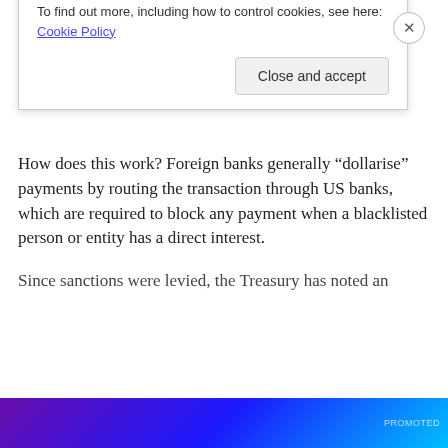exchange transactions, according to the Bank of International Settlements.
How does this work? Foreign banks generally “dollarise” payments by routing the transaction through US banks, which are required to block any payment when a blacklisted person or entity has a direct interest.
Since sanctions were levied, the Treasury has noted an
Privacy & Cookies: This site uses cookies. By continuing to use this website, you agree to their use.
To find out more, including how to control cookies, see here: Cookie Policy
Close and accept